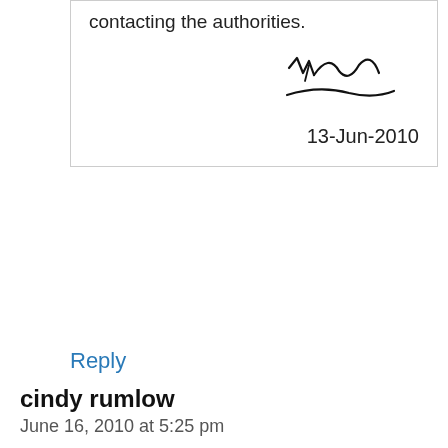contacting the authorities.
[Figure (illustration): A handwritten signature in black ink]
13-Jun-2010
Reply
cindy rumlow
June 16, 2010 at 5:25 pm
I was getting harassing texts and
[Figure (screenshot): Advertisement: Don't Go Broke In Nursing Home. Top Rated Northern Virginia Cost Of Care Protection. Free, Instant Case Evaluation Tool. Legacy Elder Law Center. OPEN button.]